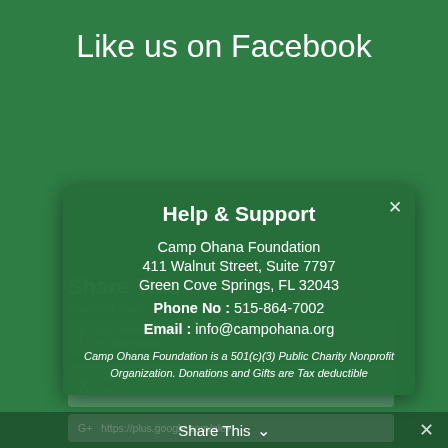Like us on Facebook
Share This
Share this page...
Help & Support
Camp Ohana Foundation
411 Walnut Street, Suite 7797
Green Cove Springs, FL 32043
Phone No : 515-864-7002
Email : info@campohana.org
Camp Ohana Foundation is a 501(c)(3) Public Charity Nonprofit Organization. Donations and Gifts are Tax deductible
Share This ∨